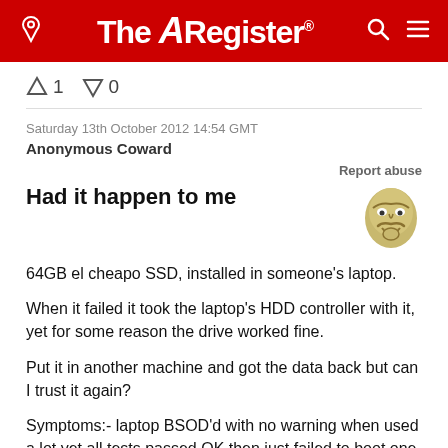The Register
↑1  ↓0
Saturday 13th October 2012 14:54 GMT
Anonymous Coward
Report abuse
Had it happen to me
[Figure (illustration): Guy Fawkes / Anonymous mask avatar icon in gold/tan color]
64GB el cheapo SSD, installed in someone's laptop.

When it failed it took the laptop's HDD controller with it, yet for some reason the drive worked fine.

Put it in another machine and got the data back but can I trust it again?

Symptoms:- laptop BSOD'd with no warning when used a lot yet all tests passed OK then just failed to boot one day with "Disk Read Error"...